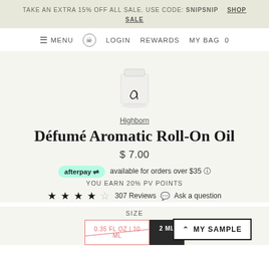TAKE AN EXTRA 15% OFF ALL SALE. USE CODE: SNIPSNIP   SHOP SALE
≡ MENU  LOGIN  REWARDS  MY BAG 0
[Figure (photo): Product image of Defume Aromatic Roll-On Oil in a small white cylindrical glass bottle with a cursive logo on it, against a light background.]
Highborn
Défumé Aromatic Roll-On Oil
$ 7.00
afterpay  available for orders over $35 ⓘ
YOU EARN 20% PV POINTS
★★★★☆ 307 Reviews   💬 Ask a question
SIZE
0.35 FL OZ | 10 ML  2 ML
^ MY SAMPLE